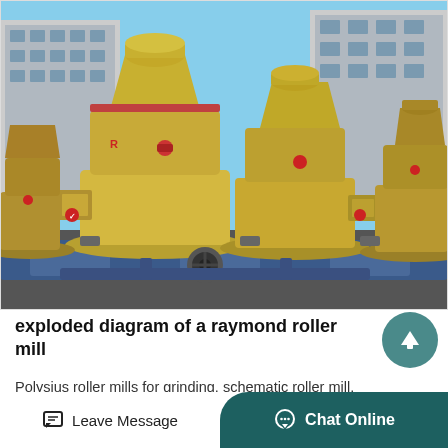[Figure (photo): Photograph of multiple yellow Raymond roller mills lined up outdoors with blue mechanical components at the base and buildings visible in the background.]
exploded diagram of a raymond roller mill
Polysius roller mills for grinding. schematic roller mill. diagram of roller mill royalcres...